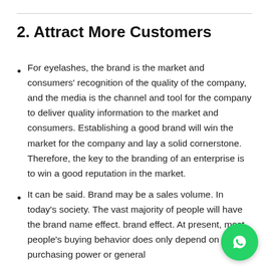2. Attract More Customers
For eyelashes, the brand is the market and consumers' recognition of the quality of the company, and the media is the channel and tool for the company to deliver quality information to the market and consumers. Establishing a good brand will win the market for the company and lay a solid cornerstone. Therefore, the key to the branding of an enterprise is to win a good reputation in the market.
It can be said. Brand may be a sales volume. In today's society. The vast majority of people will have the brand name effect. brand effect. At present, most people's buying behavior does only depend on purchasing power or general